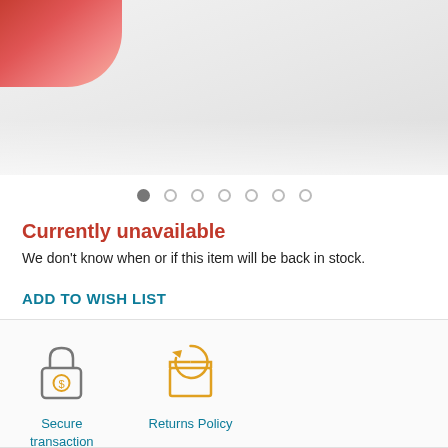[Figure (photo): Product image area showing a partial red object in the top-left corner on a light grey/white gradient background]
● ○ ○ ○ ○ ○ ○ (image carousel dots, first dot active)
Currently unavailable
We don't know when or if this item will be back in stock.
ADD TO WISH LIST
[Figure (illustration): Secure transaction icon: grey padlock with dollar sign]
Secure transaction
[Figure (illustration): Returns Policy icon: orange box with circular arrows]
Returns Policy